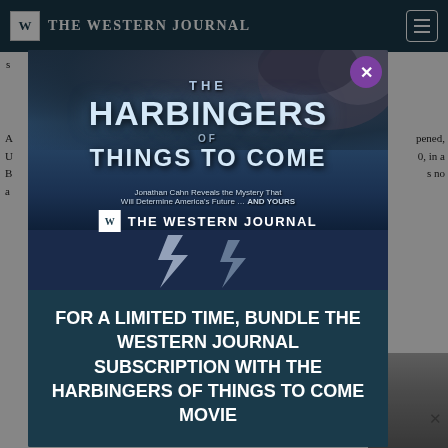W THE WESTERN JOURNAL
s
A opened, U 0, in a B s no a
[Figure (screenshot): Modal popup advertisement for 'The Harbingers of Things to Come' movie bundled with The Western Journal subscription. The modal shows a movie poster with dark stormy imagery, lightning, and text: 'THE HARBINGERS OF THINGS TO COME - Jonathan Cahn Reveals the Mystery That Will Determine America's Future ... AND YOURS'. Below the poster: 'FOR A LIMITED TIME, BUNDLE THE WESTERN JOURNAL SUBSCRIPTION WITH THE HARBINGERS OF THINGS TO COME MOVIE'. A purple X close button is in the top right corner of the modal.]
FOR A LIMITED TIME, BUNDLE THE WESTERN JOURNAL SUBSCRIPTION WITH THE HARBINGERS OF THINGS TO COME MOVIE